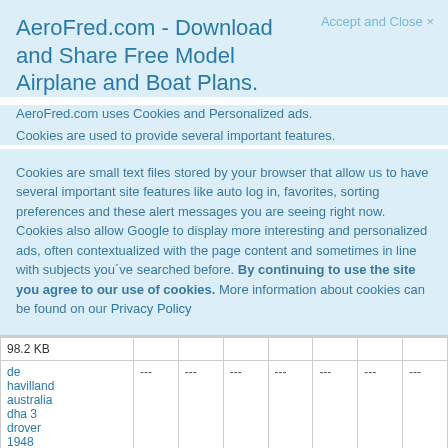AeroFred.com - Download and Share Free Model Airplane and Boat Plans.
Accept and Close ×
AeroFred.com uses Cookies and Personalized ads.
Cookies are used to provide several important features.
Cookies are small text files stored by your browser that allow us to have several important site features like auto log in, favorites, sorting preferences and these alert messages you are seeing right now. Cookies also allow Google to display more interesting and personalized ads, often contextualized with the page content and sometimes in line with subjects you´ve searched before. By continuing to use the site you agree to our use of cookies. More information about cookies can be found on our Privacy Policy
| 98.2 KB |  |  |  |  |  |  |  |
| --- | --- | --- | --- | --- | --- | --- | --- |
| de havilland australia dha 3 drover 1948 australia ID:85634 | | --- | --- | --- | --- | --- | --- | --- |